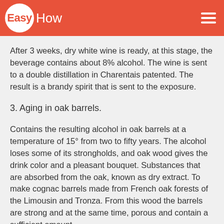EasyHow
After 3 weeks, dry white wine is ready, at this stage, the beverage contains about 8% alcohol. The wine is sent to a double distillation in Charentais patented. The result is a brandy spirit that is sent to the exposure.
3. Aging in oak barrels.
Contains the resulting alcohol in oak barrels at a temperature of 15° from two to fifty years. The alcohol loses some of its strongholds, and oak wood gives the drink color and a pleasant bouquet. Substances that are absorbed from the oak, known as dry extract. To make cognac barrels made from French oak forests of the Limousin and Tronza. From this wood the barrels are strong and at the same time, porous and contain a sufficient amount